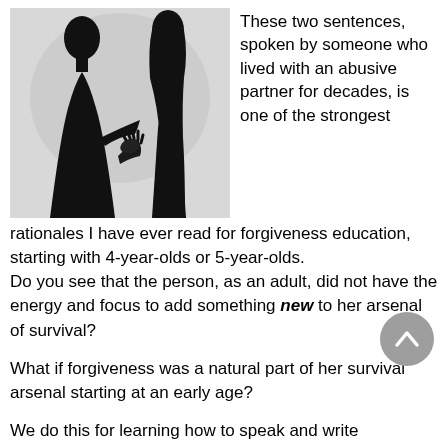[Figure (photo): Silhouette of two people (a man and a woman) facing each other in a confrontational pose, backlit against a light background. The woman appears to be gesturing with her hand.]
These two sentences, spoken by someone who lived with an abusive partner for decades, is one of the strongest rationales I have ever read for forgiveness education, starting with 4-year-olds or 5-year-olds.
Do you see that the person, as an adult, did not have the energy and focus to add something new to her arsenal of survival?
What if forgiveness was a natural part of her survival arsenal starting at an early age?
We do this for learning how to speak and write